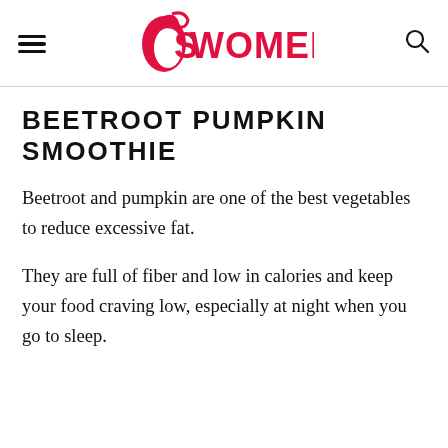SWOMENIO
BEETROOT PUMPKIN SMOOTHIE
Beetroot and pumpkin are one of the best vegetables to reduce excessive fat.
They are full of fiber and low in calories and keep your food craving low, especially at night when you go to sleep.